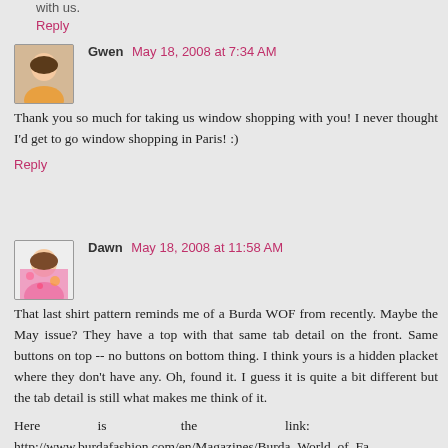with us.
Reply
Gwen  May 18, 2008 at 7:34 AM
Thank you so much for taking us window shopping with you! I never thought I'd get to go window shopping in Paris! :)
Reply
Dawn  May 18, 2008 at 11:58 AM
That last shirt pattern reminds me of a Burda WOF from recently. Maybe the May issue? They have a top with that same tab detail on the front. Same buttons on top -- no buttons on bottom thing. I think yours is a hidden placket where they don't have any. Oh, found it. I guess it is quite a bit different but the tab detail is still what makes me think of it.
Here is the link: http://www.burdafashion.com/en/Magazines/Burda_World_of_Fashion/107_B_Blouse/1270777-1000019-1616731-1616735-